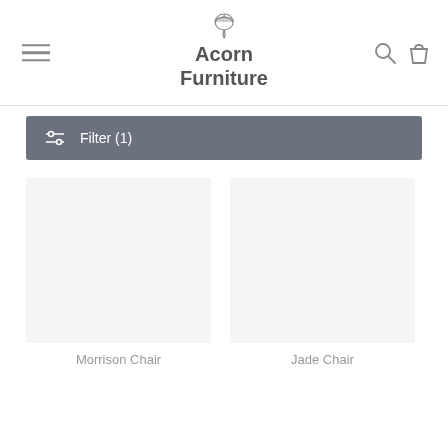Acorn Furniture
Filter (1)
Morrison Chair
Jade Chair